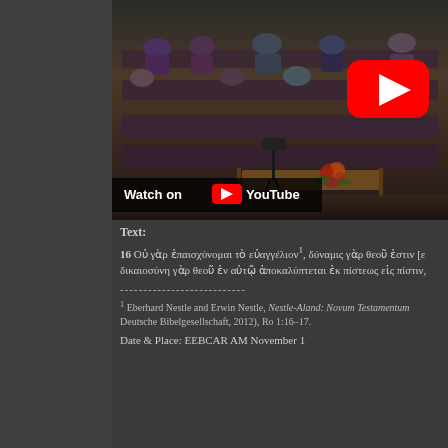[Figure (screenshot): YouTube video thumbnail showing a church congregation scene with people seated in rows, with YouTube play button overlay and 'Watch on YouTube' text at the bottom]
Text:
16 Οὐ γὰρ ἐπαισχύνομαι τὸ εὐαγγέλιον¹, δύναμις γὰρ θεοῦ ἐστιν [ε δικαιοσύνη γὰρ θεοῦ ἐν αὐτῷ ἀποκαλύπτεται ἐκ πίστεως εἰς πίστιν,
---------------------------
1 Eberhard Nestle and Erwin Nestle, Nestle-Aland: Novum Testamentum Deutsche Bibelgesellschaft, 2012), Ro 1:16–17.
Date & Place: EEBCAR AM November 1